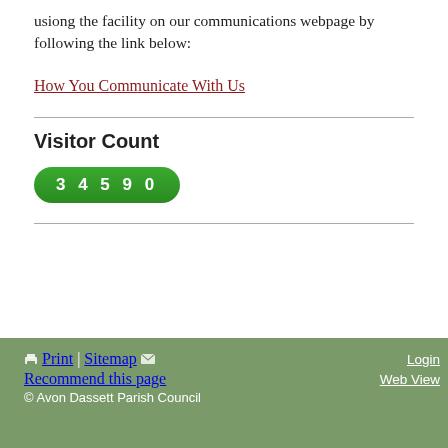usiong the facility on our communications webpage by following the link below:
How You Communicate With Us
Visitor Count
34590
Print | Sitemap  Recommend this page  © Avon Dassett Parish Council  Login  Web View